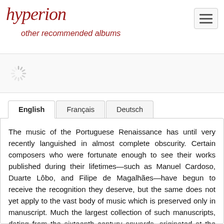hyperion — other recommended albums
[Figure (other): Loading spinner animation indicator]
English | Français | Deutsch
The music of the Portuguese Renaissance has until very recently languished in almost complete obscurity. Certain composers who were fortunate enough to see their works published during their lifetimes—such as Manuel Cardoso, Duarte Lôbo, and Filipe de Magalhães—have begun to receive the recognition they deserve, but the same does not yet apply to the vast body of music which is preserved only in manuscript. Much the largest collection of such manuscripts, dating from the sixteenth century onwards, originated at the Augustinian monastery of Santa Cruz in Coimbra (in northern Portugal). This monastery, the mother-house of the Augustinian congregation in Portugal, was an educational and cultural centre of the first rank, with a flourishing musical life. The most important composer to have worked there, Pedro de Cristo,